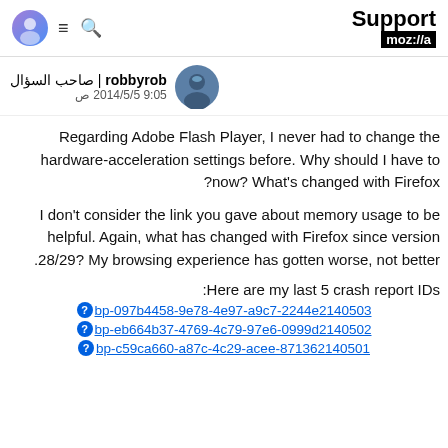Support moz://a
robbyrob | صاحب السؤال
2014/5/5 9:05 ص
Regarding Adobe Flash Player, I never had to change the hardware-acceleration settings before. Why should I have to now? What's changed with Firefox?
I don't consider the link you gave about memory usage to be helpful. Again, what has changed with Firefox since version 28/29? My browsing experience has gotten worse, not better.
Here are my last 5 crash report IDs:
bp-097b4458-9e78-4e97-a9c7-2244e2140503
bp-eb664b37-4769-4c79-97e6-0999d2140502
bp-c59ca660-a87c-4c29-acee-871362140501